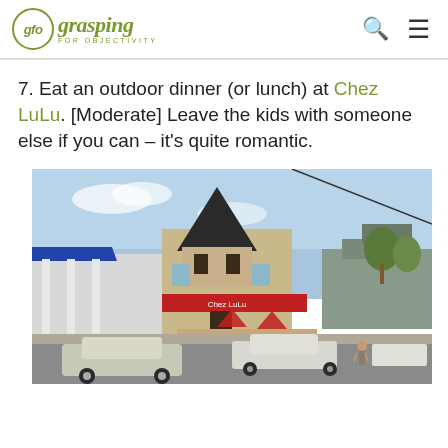glo grasping FOR OBJECTIVITY
7. Eat an outdoor dinner (or lunch) at Chez LuLu. [Moderate] Leave the kids with someone else if you can – it's quite romantic.
[Figure (photo): Street-level photo of Chez LuLu restaurant exterior with a pointed turret roof, red awning and outdoor seating, set in a commercial street with cars parked and passing, trees in background.]